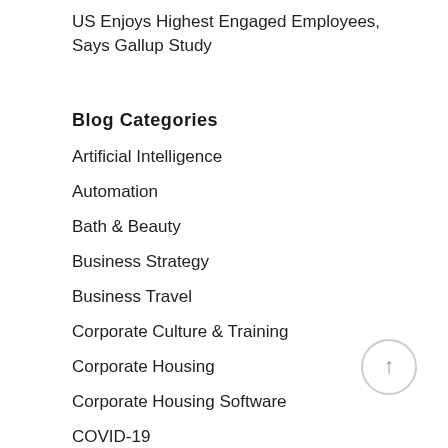US Enjoys Highest Engaged Employees, Says Gallup Study
Blog Categories
Artificial Intelligence
Automation
Bath & Beauty
Business Strategy
Business Travel
Corporate Culture & Training
Corporate Housing
Corporate Housing Software
COVID-19